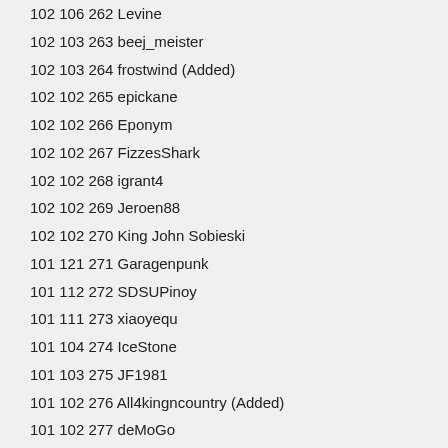102 106 262 Levine
102 103 263 beej_meister
102 103 264 frostwind (Added)
102 102 265 epickane
102 102 266 Eponym
102 102 267 FizzesShark
102 102 268 igrant4
102 102 269 Jeroen88
102 102 270 King John Sobieski
101 121 271 Garagenpunk
101 112 272 SDSUPinoy
101 111 273 xiaoyequ
101 104 274 IceStone
101 103 275 JF1981
101 102 276 All4kingncountry (Added)
101 102 277 deMoGo
101 102 278 TemplarsBane
101 102 279 tsar_respecter
101 102 280 ziran (Added)
101 101 281 ArcherKing